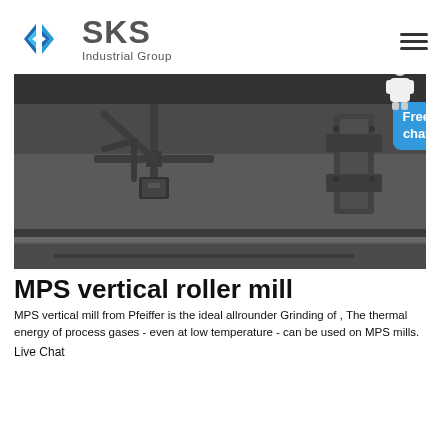[Figure (logo): SKS Industrial Group logo with blue angular S-shaped icon and gray text]
[Figure (photo): Close-up photograph of a large gray MPS vertical roller mill component showing cast metal parts and structural elements]
MPS vertical roller mill
MPS vertical mill from Pfeiffer is the ideal allrounder Grinding of , The thermal energy of process gases - even at low temperature - can be used on MPS mills.
Live Chat